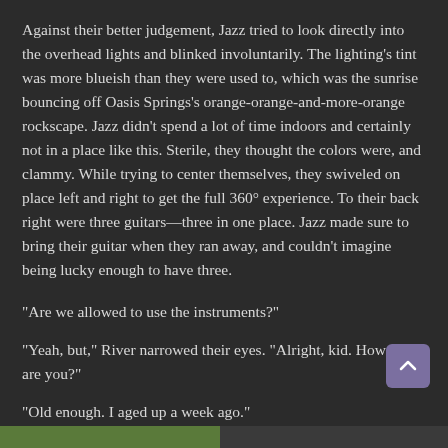Against their better judgement, Jazz tried to look directly into the overhead lights and blinked involuntarily. The lighting's tint was more blueish than they were used to, which was the sunrise bouncing off Oasis Springs's orange-orange-and-more-orange rockscape. Jazz didn't spend a lot of time indoors and certainly not in a place like this. Sterile, they thought the colors were, and clammy. While trying to center themselves, they swiveled on place left and right to get the full 360° experience. To their back right were three guitars—three in one place. Jazz made sure to bring their guitar when they ran away, and couldn't imagine being lucky enough to have three.
“Are we allowed to use the instruments?”
“Yeah, but,” River narrowed their eyes. “Alright, kid. How old are you?”
“Old enough. I aged up a week ago.”